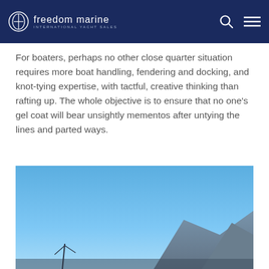freedom marine — INTERNATIONAL YACHT SALES
For boaters, perhaps no other close quarter situation requires more boat handling, fendering and docking, and knot-tying expertise, with tactful, creative thinking than rafting up. The whole objective is to ensure that no one's gel coat will bear unsightly mementos after untying the lines and parted ways.
[Figure (photo): Outdoor photograph showing a blue sky with mountains visible in the lower portion of the image, likely depicting a marine/boating location.]